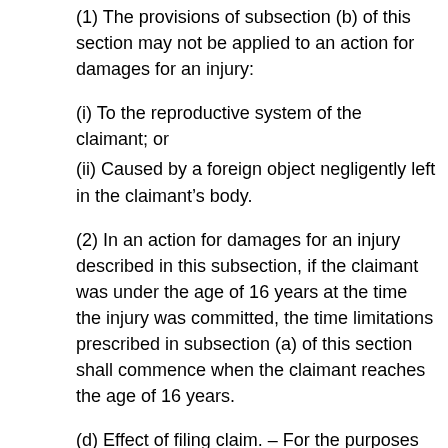(1) The provisions of subsection (b) of this section may not be applied to an action for damages for an injury:
(i) To the reproductive system of the claimant; or
(ii) Caused by a foreign object negligently left in the claimant’s body.
(2) In an action for damages for an injury described in this subsection, if the claimant was under the age of 16 years at the time the injury was committed, the time limitations prescribed in subsection (a) of this section shall commence when the claimant reaches the age of 16 years.
(d) Effect of filing claim. – For the purposes of this section, the filing of a claim with the Health Claims Arbitration Office in accordance with § 3-2A-04 of this article shall be deemed the filing of